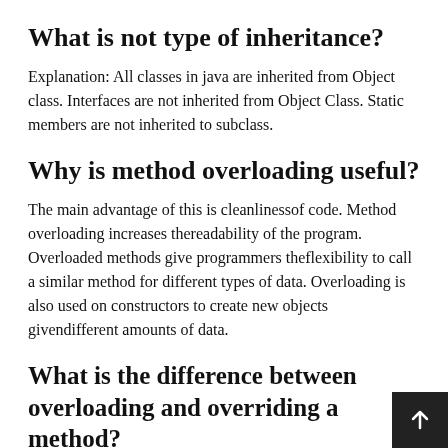What is not type of inheritance?
Explanation: All classes in java are inherited from Object class. Interfaces are not inherited from Object Class. Static members are not inherited to subclass.
Why is method overloading useful?
The main advantage of this is cleanlinessof code. Method overloading increases thereadability of the program. Overloaded methods give programmers theflexibility to call a similar method for different types of data. Overloading is also used on constructors to create new objects givendifferent amounts of data.
What is the difference between overloading and overriding a method?